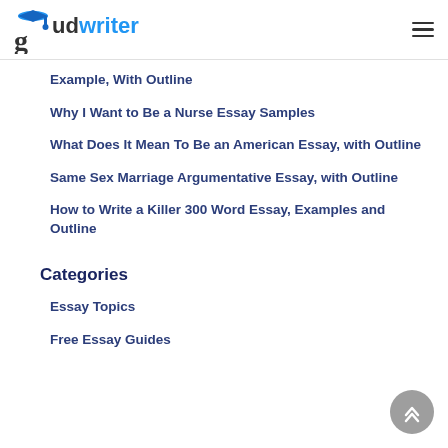gudwriter
Example, With Outline
Why I Want to Be a Nurse Essay Samples
What Does It Mean To Be an American Essay, with Outline
Same Sex Marriage Argumentative Essay, with Outline
How to Write a Killer 300 Word Essay, Examples and Outline
Categories
Essay Topics
Free Essay Guides